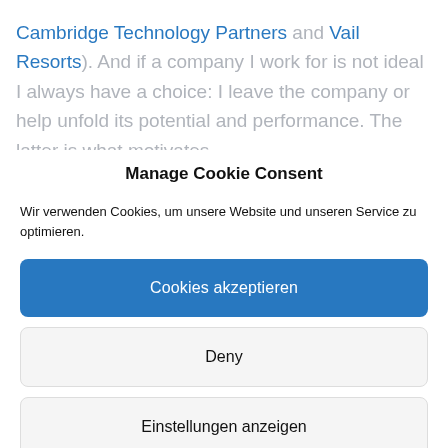Cambridge Technology Partners and Vail Resorts). And if a company I work for is not ideal I always have a choice: I leave the company or help unfold its potential and performance. The latter is what motivates
Manage Cookie Consent
Wir verwenden Cookies, um unsere Website und unseren Service zu optimieren.
Cookies akzeptieren
Deny
Einstellungen anzeigen